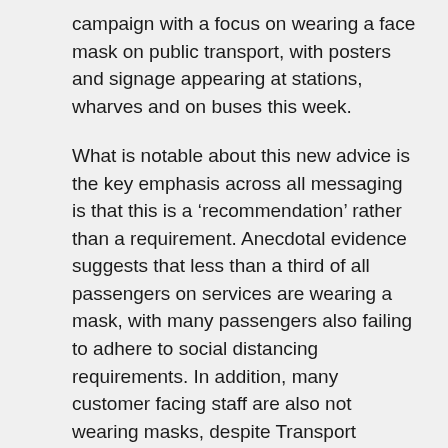campaign with a focus on wearing a face mask on public transport, with posters and signage appearing at stations, wharves and on buses this week.
What is notable about this new advice is the key emphasis across all messaging is that this is a ‘recommendation’ rather than a requirement. Anecdotal evidence suggests that less than a third of all passengers on services are wearing a mask, with many passengers also failing to adhere to social distancing requirements. In addition, many customer facing staff are also not wearing masks, despite Transport ‘supposedly’ providing staff with sufficient face masks to wear during their shifts. This makes a mockery of the new recommendations and demonstrates the lack of commitments to mask wearing at Transport for NSW.
It is clear that by not mandating face masks on public